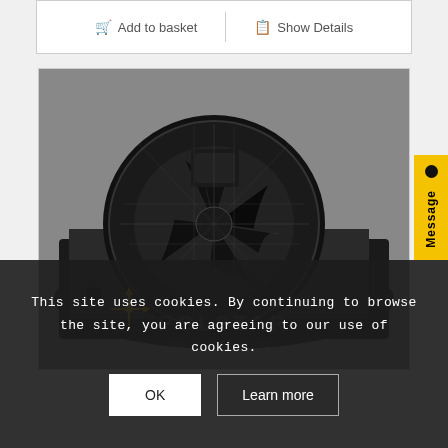Add to basket | Show Details
[Figure (photo): Black industrial fan/fan assembly mounted on a black metal plate, photographed from above at an angle. A 'POLSTAR PRODUCTS LTD' watermark logo is visible at the bottom.]
Message
This site uses cookies. By continuing to browse the site, you are agreeing to our use of cookies.
OK | Learn more